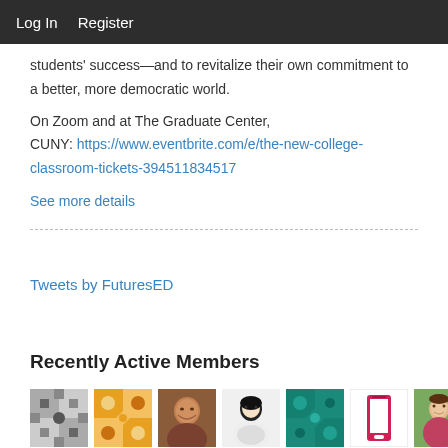Log In   Register
students' success—and to revitalize their own commitment to a better, more democratic world.
On Zoom and at The Graduate Center, CUNY: https://www.eventbrite.com/e/the-new-college-classroom-tickets-394511834517
See more details
Tweets by FuturesED
Recently Active Members
[Figure (photo): Row of member avatar images including geometric pattern avatars, a photo of a smiling woman, an illustrated portrait, a teal geometric pattern, a phone/device icon, and a woman outdoors.]